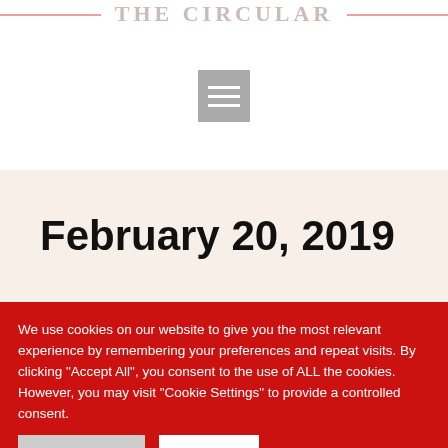THE CIRCULAR
[Figure (other): Hamburger menu icon — three horizontal white lines on a gray square background]
February 20, 2019
We use cookies on our website to give you the most relevant experience by remembering your preferences and repeat visits. By clicking "Accept All", you consent to the use of ALL the cookies. However, you may visit "Cookie Settings" to provide a controlled consent.
Cookie Settings | Accept All